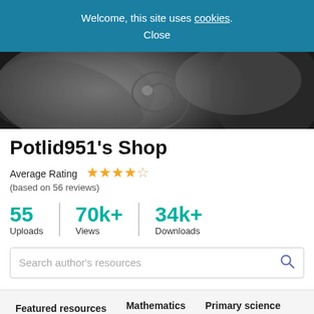Welcome, this site uses cookies. Close
[Figure (photo): Black and white close-up photograph of a nautilus shell spiral]
Potlid951's Shop
Average Rating ★★★★☆ (based on 56 reviews)
55 Uploads | 70k+ Views | 34k+ Downloads
Search author's resources
Featured resources | Mathematics | Primary science